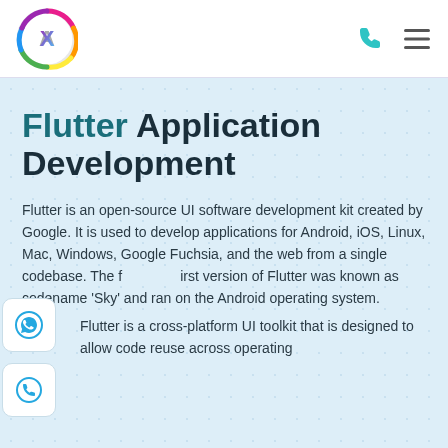Flutter Application Development — website header with logo, phone icon, and hamburger menu
Flutter Application Development
Flutter is an open-source UI software development kit created by Google. It is used to develop applications for Android, iOS, Linux, Mac, Windows, Google Fuchsia, and the web from a single codebase. The first version of Flutter was known as codename 'Sky' and ran on the Android operating system.
Flutter is a cross-platform UI toolkit that is designed to allow code reuse across operating